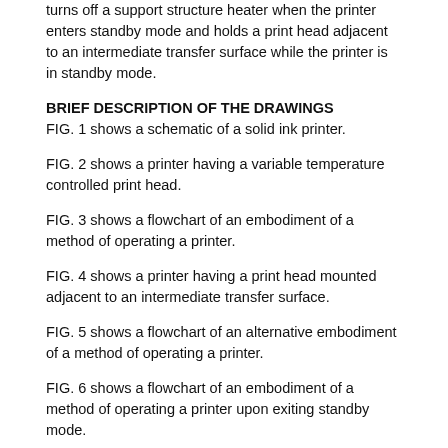turns off a support structure heater when the printer enters standby mode and holds a print head adjacent to an intermediate transfer surface while the printer is in standby mode.
BRIEF DESCRIPTION OF THE DRAWINGS
FIG. 1 shows a schematic of a solid ink printer.
FIG. 2 shows a printer having a variable temperature controlled print head.
FIG. 3 shows a flowchart of an embodiment of a method of operating a printer.
FIG. 4 shows a printer having a print head mounted adjacent to an intermediate transfer surface.
FIG. 5 shows a flowchart of an alternative embodiment of a method of operating a printer.
FIG. 6 shows a flowchart of an embodiment of a method of operating a printer upon exiting standby mode.
FIG. 7 shows a rotatable mounting for a print head.